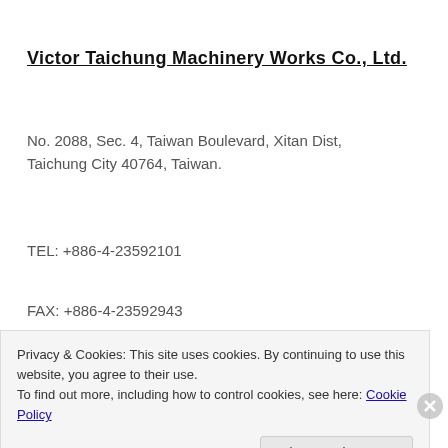Victor Taichung Machinery Works Co., Ltd.
No. 2088, Sec. 4, Taiwan Boulevard, Xitan Dist, Taichung City 40764, Taiwan.
TEL: +886-4-23592101
FAX: +886-4-23592943
E-mail: info@mail.or.com.tw
Privacy & Cookies: This site uses cookies. By continuing to use this website, you agree to their use.
To find out more, including how to control cookies, see here: Cookie Policy
Close and accept